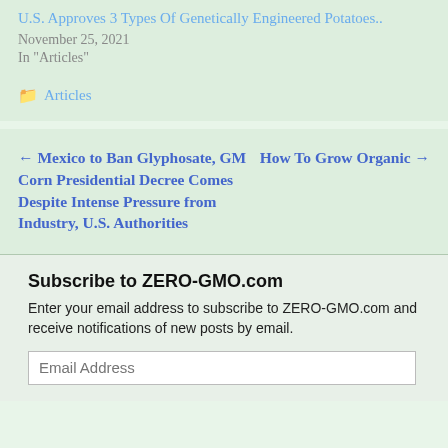U.S. Approves 3 Types Of Genetically Engineered Potatoes..
November 25, 2021
In "Articles"
Articles
← Mexico to Ban Glyphosate, GM Corn Presidential Decree Comes Despite Intense Pressure from Industry, U.S. Authorities
How To Grow Organic →
Subscribe to ZERO-GMO.com
Enter your email address to subscribe to ZERO-GMO.com and receive notifications of new posts by email.